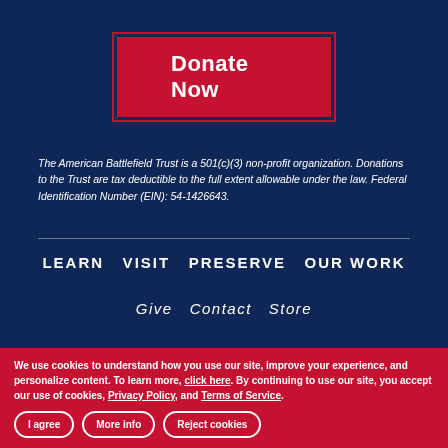[Figure (infographic): Donate Now button - red rectangular button with white bold text 'Donate Now', surrounded by a red border outline]
The American Battlefield Trust is a 501(c)(3) non-profit organization. Donations to the Trust are tax deductible to the full extent allowable under the law. Federal Identification Number (EIN): 54-1426643.
LEARN  VISIT  PRESERVE  OUR WORK
Give  Contact  Store
CONNECT WITH US
[Figure (infographic): Row of social media icons: Facebook, Twitter, YouTube, Instagram, TikTok, LinkedIn]
We use cookies to understand how you use our site, improve your experience, and personalize content. To learn more, click here. By continuing to use our site, you accept our use of cookies, Privacy Policy, and Terms of Service.
I agree   More info   Reject cookies